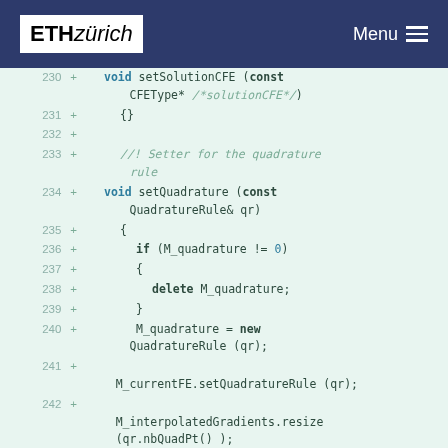ETH zürich  Menu
[Figure (screenshot): C++ code diff showing lines 230-242 of a C++ source file with ETH Zurich website styling. Code includes setSolutionCFE, setQuadrature methods with M_quadrature pointer management, M_currentFE.setQuadratureRule, and M_interpolatedGradients.resize calls.]